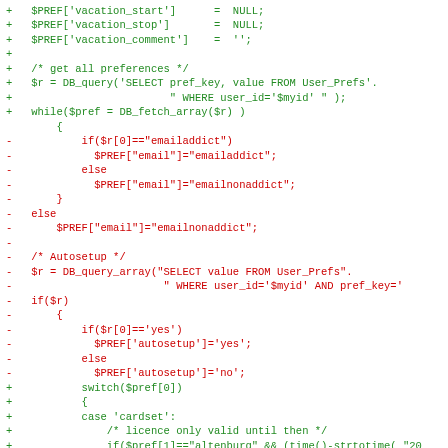[Figure (other): A code diff view showing PHP code changes. Lines prefixed with '+' are in green (added lines) and lines prefixed with '-' are in red (removed lines). The diff shows changes to preference fetching logic including vacation settings, DB queries, email addict checks, autosetup logic, and a switch statement for cardset.]